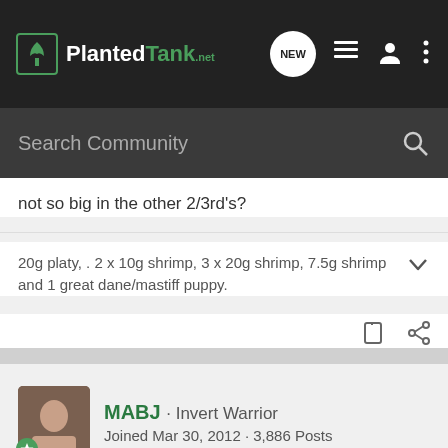PlantedTank
not so big in the other 2/3rd's?
20g platy, . 2 x 10g shrimp, 3 x 20g shrimp, 7.5g shrimp and 1 great dane/mastiff puppy.
MABJ · Invert Warrior
Joined Mar 30, 2012 · 3,886 Posts
#13 · Dec 29, 2012
Yes. And it never hurts to throw driftwood/ things covered with